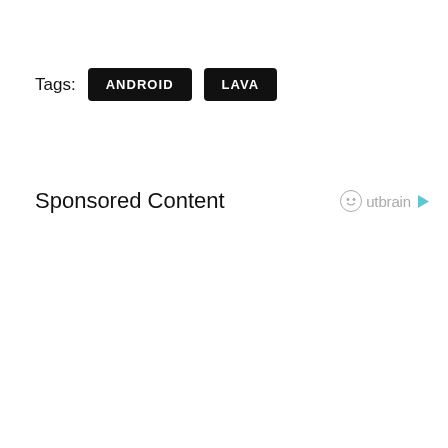Tags: ANDROID LAVA
Sponsored Content   Outbrain ▶